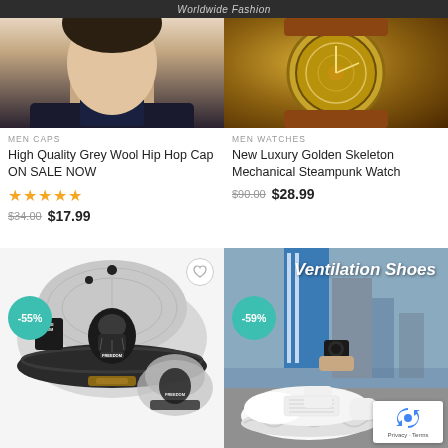Worldwide Fashion
[Figure (photo): Man wearing black jacket, face partially visible, promoting men caps]
MEN CAPS
High Quality Grey Wool Hip Hop Cap ON SALE NOW
★★★★★
$34.00  $17.99
[Figure (photo): Close-up of golden skeleton mechanical steampunk watch]
MEN WATCHES
New Luxury Golden Skeleton Mechanical Steampunk Watch
$90.00  $28.99
[Figure (photo): Grey snapback cap with Freedom beard logo, -55% discount badge]
[Figure (photo): White ventilation sneaker shoes with -59% discount badge, Ventilation Shoes label]